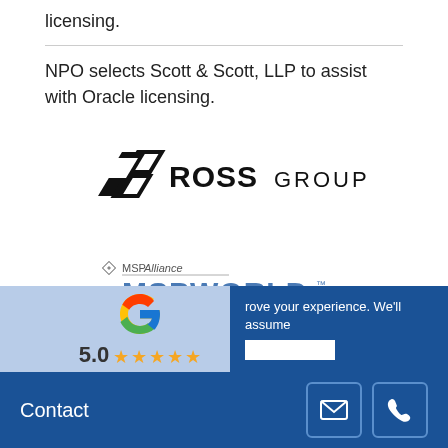licensing.
NPO selects Scott & Scott, LLP to assist with Oracle licensing.
[Figure (logo): Ross Group logo — geometric diamond/arrow icon in black followed by 'ROSS GROUP' in bold black text]
[Figure (logo): MSP Alliance MSPWorld logo — diamond shield icon with 'MSPAlliance' in small text above 'MSPWORLD' in large bold blue text with trademark symbol]
[Figure (screenshot): Partial UI overlay showing Google logo (G in color), a star rating row (5.0 stars), and a cookie consent bar saying 'rove your experience. We'll assume' with a white button. Bottom bar shows 'Contact' label with email and phone icon buttons on dark blue background.]